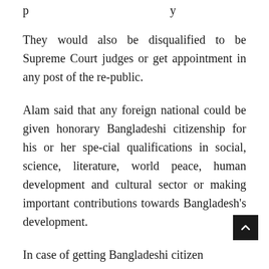p … (partial line cut off at top)
They would also be disqualified to be Supreme Court judges or get appointment in any post of the re-public.
Alam said that any foreign national could be given honorary Bangladeshi citizenship for his or her spe-cial qualifications in social, science, literature, world peace, human development and cultural sector or making important contributions towards Bangladesh's development.
In case of getting Bangladeshi citizenship (partial, cut off at bottom)